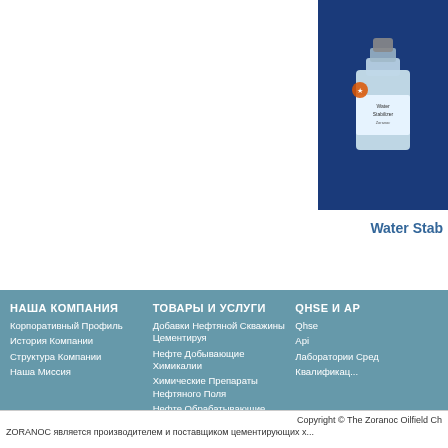[Figure (photo): Photo of a chemical product bottle/vial against a blue background, partially cropped at top-right corner of page]
Water Stab
НАША КОМПАНИЯ
Корпоративный Профиль
История Компании
Структура Компании
Наша Миссия
ТОВАРЫ И УСЛУГИ
Добавки Нефтяной Скважины Цементируя
Нефте Добывающие Химикалии
Химические Препараты Нефтяного Поля
Нефте Обрабатывающие Добавки
Услуги
QHSE И АР
Qhse
Api
Лаборатории Сред
Квалификац...
Copyright © The Zoranoc Oilfield Ch
ZORANOC является производителем и поставщиком цементирующих х...